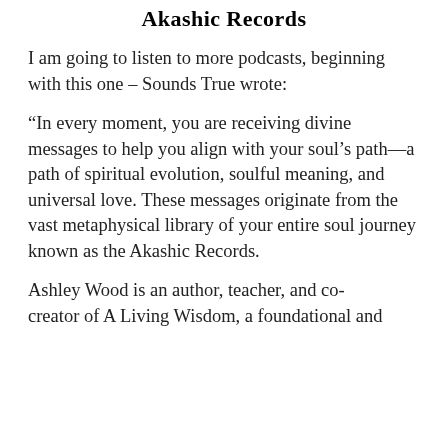Akashic Records
I am going to listen to more podcasts, beginning with this one – Sounds True wrote:
“In every moment, you are receiving divine messages to help you align with your soul’s path—a path of spiritual evolution, soulful meaning, and universal love. These messages originate from the vast metaphysical library of your entire soul journey known as the Akashic Records.
Ashley Wood is an author, teacher, and co-creator of A Living Wisdom, a foundational and